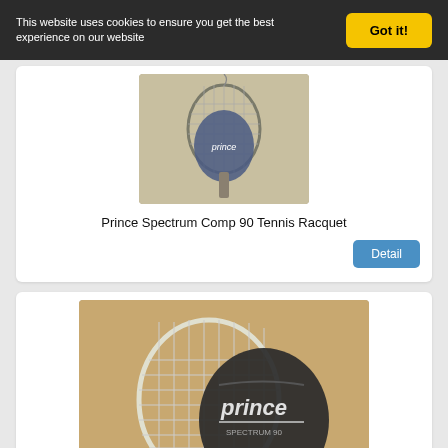This website uses cookies to ensure you get the best experience on our website
Got it!
[Figure (photo): Prince Spectrum Comp 90 tennis racquet with blue Prince cover case, hanging on display]
Prince Spectrum Comp 90 Tennis Racquet
Detail
[Figure (photo): PRINCE Spectrum Comp 90 tennis racquet with white frame and black Prince racquet cover, lying on brown surface]
PRINCE Spectrum Comp 90 Tennis Racquet - 4 1/2 grip - Excellent Condition
Detail
[Figure (photo): Partially visible third product listing at the bottom of the page]